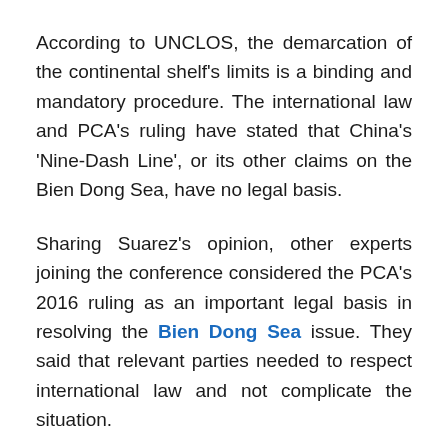According to UNCLOS, the demarcation of the continental shelf's limits is a binding and mandatory procedure. The international law and PCA's ruling have stated that China's 'Nine-Dash Line', or its other claims on the Bien Dong Sea, have no legal basis.
Sharing Suarez's opinion, other experts joining the conference considered the PCA's 2016 ruling as an important legal basis in resolving the Bien Dong Sea issue. They said that relevant parties needed to respect international law and not complicate the situation.
Regarding the role of European countries in solving the Bien Dong Sea issue, professor and journalist Rodion Ebbighausen (Deutsche Welle broadcaster)